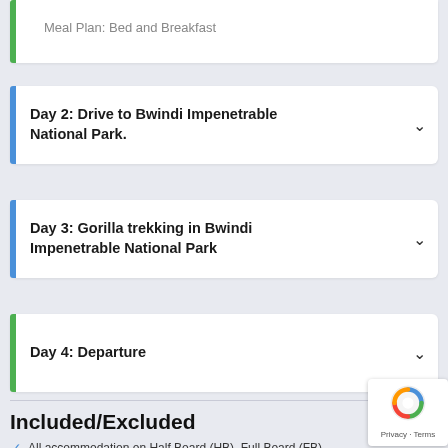Meal Plan: Bed and Breakfast
Day 2: Drive to Bwindi Impenetrable National Park.
Day 3: Gorilla trekking in Bwindi Impenetrable National Park
Day 4: Departure
Included/Excluded
All accommodation on Half Board (HB), Full Board (FB)...